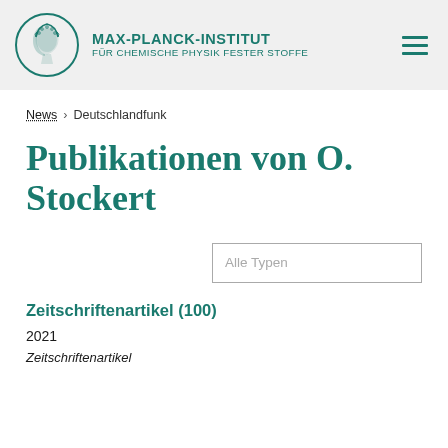MAX-PLANCK-INSTITUT FÜR CHEMISCHE PHYSIK FESTER STOFFE
News > Deutschlandfunk
Publikationen von O. Stockert
Alle Typen
Zeitschriftenartikel (100)
2021
Zeitschriftenartikel